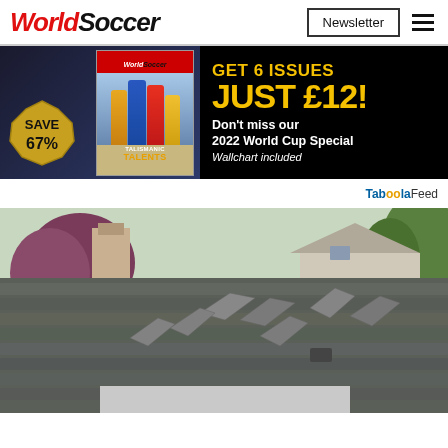WorldSoccer | Newsletter
[Figure (photo): World Soccer magazine subscription advertisement banner: magazine cover showing football players with 'SAVE 67%' badge and 'TALISMANIC TALENTS' text on left; right side on black background shows 'GET 6 ISSUES JUST £12! Don't miss our 2022 World Cup Special Wallchart included']
Taboola Feed
[Figure (photo): Photo of a house roof with heavily damaged/lifted shingles, trees and a house visible in background]